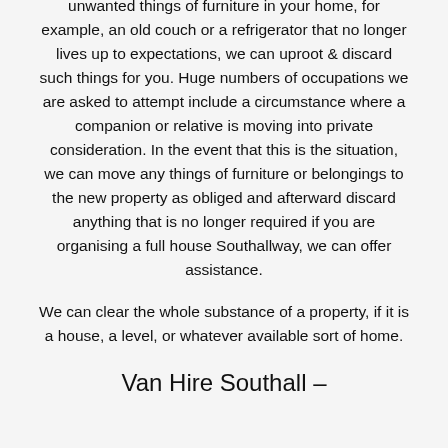unwanted things of furniture in your home, for example, an old couch or a refrigerator that no longer lives up to expectations, we can uproot & discard such things for you. Huge numbers of occupations we are asked to attempt include a circumstance where a companion or relative is moving into private consideration. In the event that this is the situation, we can move any things of furniture or belongings to the new property as obliged and afterward discard anything that is no longer required if you are organising a full house Southallway, we can offer assistance.
We can clear the whole substance of a property, if it is a house, a level, or whatever available sort of home.
Van Hire Southall –